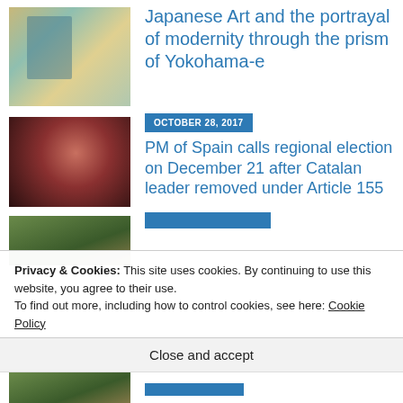Japanese Art and the portrayal of modernity through the prism of Yokohama-e
[Figure (photo): Japanese woodblock print illustration showing a figure in traditional dress]
[Figure (photo): Close-up photo of a woman's face at what appears to be a protest or gathering]
OCTOBER 28, 2017
PM of Spain calls regional election on December 21 after Catalan leader removed under Article 155
Privacy & Cookies: This site uses cookies. By continuing to use this website, you agree to their use.
To find out more, including how to control cookies, see here: Cookie Policy
Close and accept